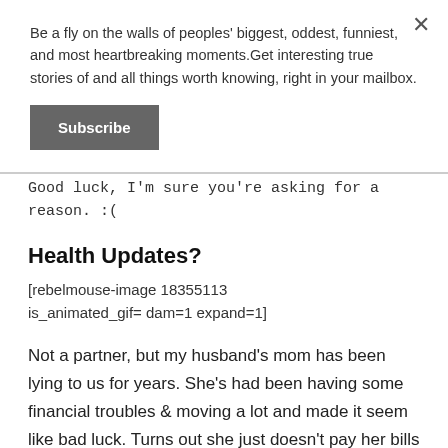Be a fly on the walls of peoples' biggest, oddest, funniest, and most heartbreaking moments.Get interesting true stories of and all things worth knowing, right in your mailbox.
Subscribe
Good luck, I'm sure you're asking for a reason. :(
Health Updates?
[rebelmouse-image 18355113 is_animated_gif= dam=1 expand=1]
Not a partner, but my husband's mom has been lying to us for years. She's had been having some financial troubles & moving a lot and made it seem like bad luck. Turns out she just doesn't pay her bills and has been evicted from